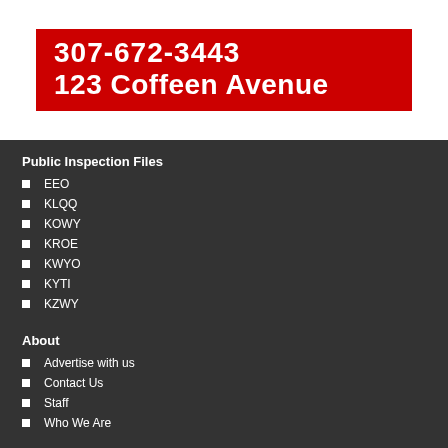307-672-3443
123 Coffeen Avenue
Public Inspection Files
EEO
KLQQ
KOWY
KROE
KWYO
KYTI
KZWY
About
Advertise with us
Contact Us
Staff
Who We Are